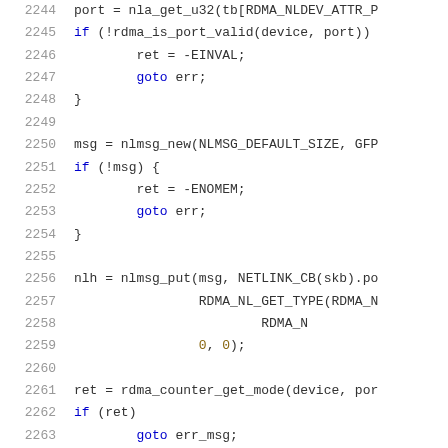[Figure (screenshot): Source code listing showing C code lines 2244-2264 with syntax highlighting. Line numbers in grey on left, code in dark/blue/gold colors on right.]